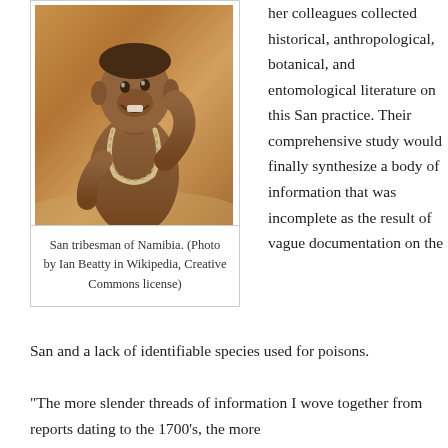[Figure (photo): San tribesman of Namibia, shirtless man wearing a twisted rope necklace, smiling, photographed outdoors in an arid environment.]
San tribesman of Namibia. (Photo by Ian Beatty in Wikipedia, Creative Commons license)
her colleagues collected historical, anthropological, botanical, and entomological literature on this San practice. Their comprehensive study would finally synthesize a body of information that was incomplete as the result of vague documentation on the San and a lack of identifiable species used for poisons.
“The more slender threads of information I wove together from reports dating to the 1700’s, the more